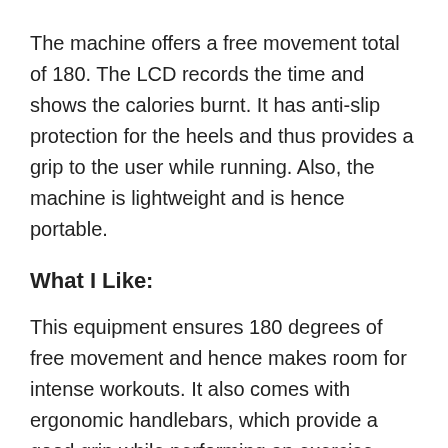The machine offers a free movement total of 180. The LCD records the time and shows the calories burnt. It has anti-slip protection for the heels and thus provides a grip to the user while running. Also, the machine is lightweight and is hence portable.
What I Like:
This equipment ensures 180 degrees of free movement and hence makes room for intense workouts. It also comes with ergonomic handlebars, which provide a good grip while performing an exercise. The machine comes with an LCD screen that displays the calories burnt and